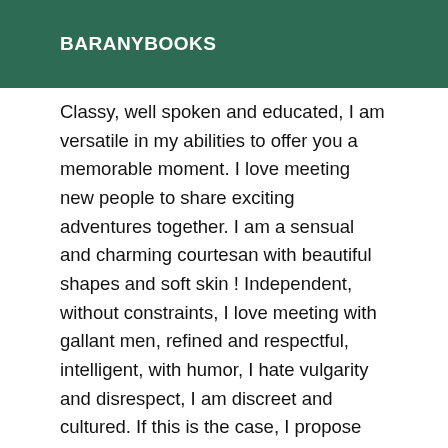BARANYBOOKS
Classy, well spoken and educated, I am versatile in my abilities to offer you a memorable moment. I love meeting new people to share exciting adventures together. I am a sensual and charming courtesan with beautiful shapes and soft skin ! Independent, without constraints, I love meeting with gallant men, refined and respectful, intelligent, with humor, I hate vulgarity and disrespect, I am discreet and cultured. If this is the case, I propose you a moment of intimacy and relaxation in a harmonious atmosphere, an erotic exchange !! Do not miss the opportunity of a different meeting, rich in emotions, that you will not forget ... I am also the ideal companion to provide you with a perfect date. Please contact me at least a few hours in advance .... Details are available on simple sms or call. Thank you for your interest! .. Thank you for respecting the schedule :) My practices: ♣PSE, ♣GFE (GirlFriend Experience) ♣ Blowjob ♣ Protected report ♣ French kiss ♣ 69 ♣ Anal massage